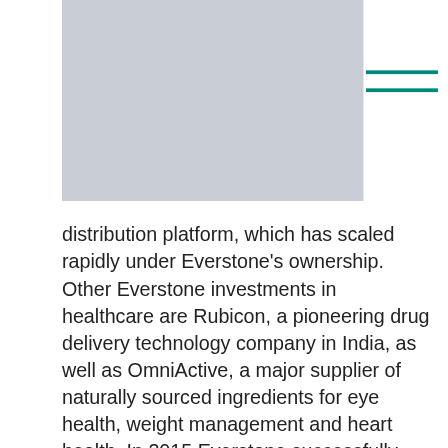[Figure (photo): Gray image placeholder in upper left area of the page]
distribution platform, which has scaled rapidly under Everstone's ownership. Other Everstone investments in healthcare are Rubicon, a pioneering drug delivery technology company in India, as well as OmniActive, a major supplier of naturally sourced ingredients for eye health, weight management and heart health. In 2015 Everstone successfully exited Global Hospitals, a large multi-specialty tertiary hospital chain.
About Everlife
Everlife Asia is a buy-and-build platform aimed to provide complete solutions for the healthcare and research industries in South East Asia and India. As part of the Everstone